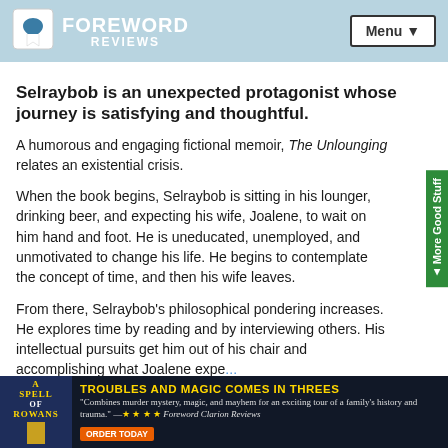FOREWORD REVIEWS | Menu
Selraybob is an unexpected protagonist whose journey is satisfying and thoughtful.
A humorous and engaging fictional memoir, The Unlounging relates an existential crisis.
When the book begins, Selraybob is sitting in his lounger, drinking beer, and expecting his wife, Joalene, to wait on him hand and foot. He is uneducated, unemployed, and unmotivated to change his life. He begins to contemplate the concept of time, and then his wife leaves.
From there, Selraybob's philosophical pondering increases. He explores time by reading and by interviewing others. His intellectual pursuits get him out of his chair and accomplishing what Joalene expe... doin...
[Figure (other): Advertisement for 'A Spell of Rowans' book: TROUBLES AND MAGIC COMES IN THREES. Combines murder mystery, magic, and mayhem for an exciting tour of a family's history and trauma. With star ratings and ORDER TODAY button.]